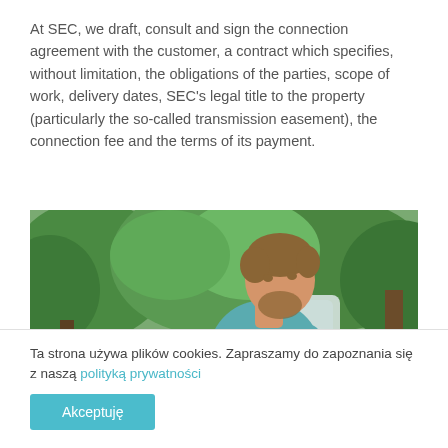At SEC, we draft, consult and sign the connection agreement with the customer, a contract which specifies, without limitation, the obligations of the parties, scope of work, delivery dates, SEC's legal title to the property (particularly the so-called transmission easement), the connection fee and the terms of its payment.
[Figure (photo): A man with a beard wearing a teal/green sweater sitting outdoors in a white chair, reading or reviewing documents. Green trees and foliage in the background.]
Ta strona używa plików cookies. Zapraszamy do zapoznania się z naszą polityką prywatności